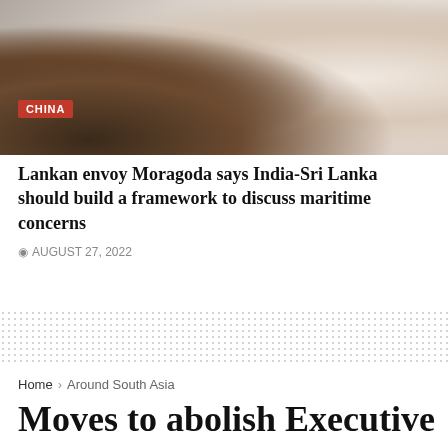[Figure (photo): Photo of hands (likely a handshake or discussion gesture) with a red CHINA category badge overlay in the lower left]
Lankan envoy Moragoda says India-Sri Lanka should build a framework to discuss maritime concerns
AUGUST 27, 2022
Home > Around South Asia
Moves to abolish Executive Presidency failed due to greed for power